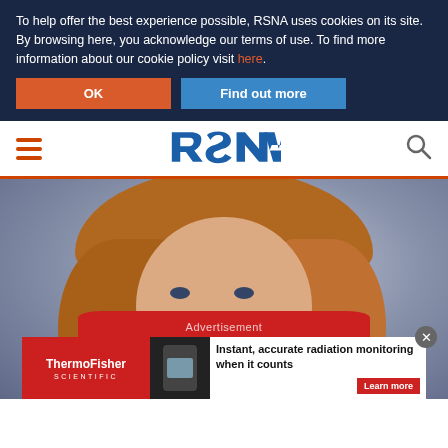To help offer the best experience possible, RSNA uses cookies on its site. By browsing here, you acknowledge our terms of use. To find more information about our cookie policy visit here.
OK
Find out more
[Figure (logo): RSNA logo in blue text]
[Figure (photo): Portrait of a woman with reddish-brown curly hair, smiling, wearing a red top, against a blue-gray background]
Advertisement
[Figure (infographic): ThermoFisher Scientific advertisement banner: Instant, accurate radiation monitoring when it counts. Learn more button.]